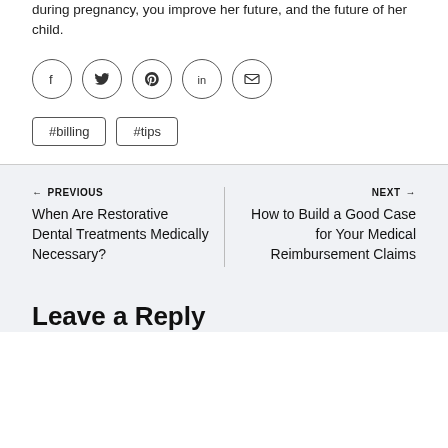during pregnancy, you improve her future, and the future of her child.
[Figure (infographic): Social share icons: Facebook, Twitter, Pinterest, LinkedIn, Email — each in a circle outline]
#billing  #tips
← PREVIOUS
When Are Restorative Dental Treatments Medically Necessary?
NEXT →
How to Build a Good Case for Your Medical Reimbursement Claims
Leave a Reply